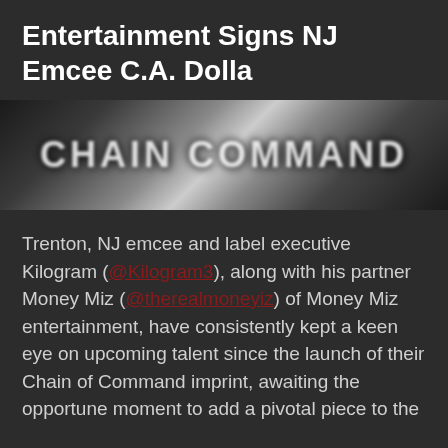Entertainment Signs NJ Emcee C.A. Dolla
[Figure (photo): Blurred/stylized image showing the text 'CHAIN COMMAND' in large bold letters against a dark and light blurred background]
Trenton, NJ emcee and label executive Kilogram (@Kilogram3), along with his partner Money Miz (@therealmoneyiz) of Money Miz entertainment, have consistently kept a keen eye on upcoming talent since the launch of their Chain of Command imprint, awaiting the opportune moment to add a pivotal piece to the